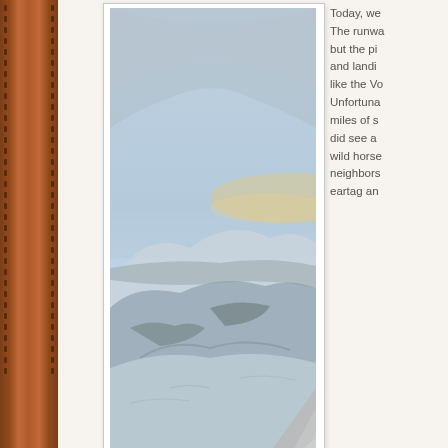[Figure (photo): Aerial photograph taken from inside a small aircraft showing a snow-covered landscape with Battle Mountain at almost sunset. The wing strut of the plane is visible in the lower right. The sky shows blue and golden sunset hues.]
Almost sunset over Battle Mountain
Today, we... The runwa... but the pi... and landi... like the Vo... Unfortuna... miles of s... did see a... wild horse... neighbors... eartag an...
[Figure (photo): Partial aerial photo of a snow-covered landscape, visible at the bottom right of the page.]